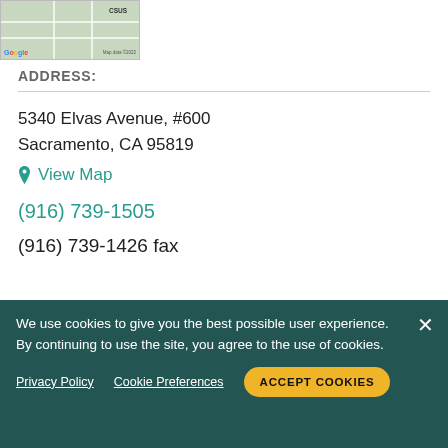[Figure (map): Google Maps thumbnail showing CSUS area, with map data ©2022 label and Google logo]
ADDRESS:
5340 Elvas Avenue, #600
Sacramento, CA 95819
View Map
(916) 739-1505
(916) 739-1426 fax
Board Certifications
We use cookies to give you the best possible user experience. By continuing to use the site, you agree to the use of cookies.
Privacy Policy   Cookie Preferences   ACCEPT COOKIES